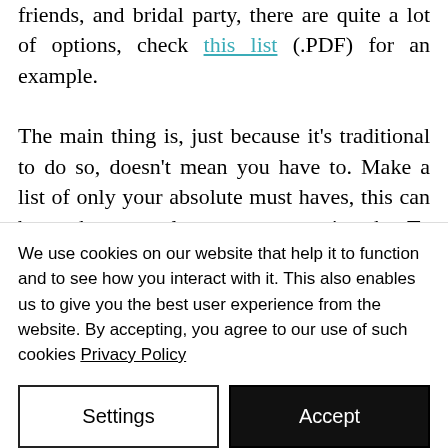friends, and bridal party, there are quite a lot of options, check this list (.PDF) for an example.

The main thing is, just because it's traditional to do so, doesn't mean you have to. Make a list of only your absolute must haves, this can be as short or as long as you want it to be. To provide some perspective, a full list like the one linked above, will take about 45 minutes to an hour to
We use cookies on our website that help it to function and to see how you interact with it. This also enables us to give you the best user experience from the website. By accepting, you agree to our use of such cookies Privacy Policy